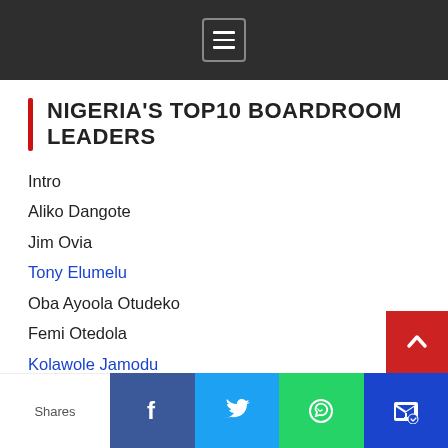[Menu icon]
NIGERIA'S TOP10 BOARDROOM LEADERS
Intro
Aliko Dangote
Jim Ovia
Tony Elumelu
Oba Ayoola Otudeko
Femi Otedola
Kolawole Jamodu
Felix Ohiwerei
Atedo Peterside
Mike Adenuga
Shares | Facebook | Twitter | WhatsApp | Mail